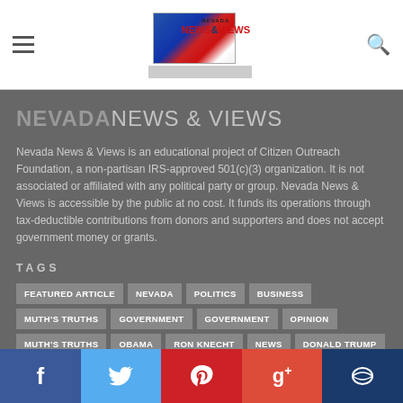Nevada NEWS & VIEWS
NEVADA NEWS & VIEWS
Nevada News & Views is an educational project of Citizen Outreach Foundation, a non-partisan IRS-approved 501(c)(3) organization. It is not associated or affiliated with any political party or group. Nevada News & Views is accessible by the public at no cost. It funds its operations through tax-deductible contributions from donors and supporters and does not accept government money or grants.
TAGS
FEATURED ARTICLE
NEVADA
POLITICS
BUSINESS
MUTH'S TRUTHS
GOVERNMENT
GOVERNMENT
OPINION
MUTH'S TRUTHS
OBAMA
RON KNECHT
NEWS
DONALD TRUMP
GOP
REPUBLICANS
Social share buttons: Facebook, Twitter, Pinterest, Google+, Comments